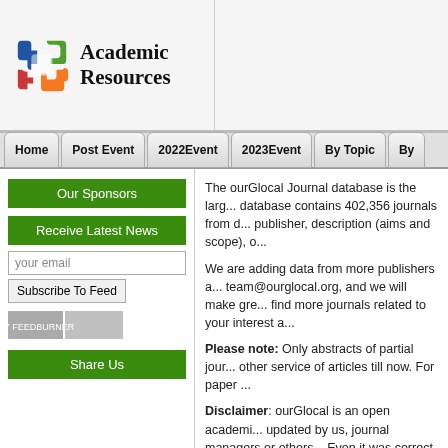Academic Resources
Home | Post Event | 2022Event | 2023Event | By Topic | By...
Our Sponsors
Receive Latest News
your email
Subscribe To Feed
Share Us
The ourGlocal Journal database is the large... database contains 402,356 journals from d... publisher, description (aims and scope), o...
We are adding data from more publishers a... team@ourglocal.org, and we will make gre... find more journals related to your interest a...
Please note: Only abstracts of partial jou... other service of articles till now. For paper ...
Disclaimer: ourGlocal is an open academi... updated by us, journal managers or others... Even it was correct when updated, it may h... Journal impact factor.
2307-3128	2307-3136
2307-3187	2307-3195